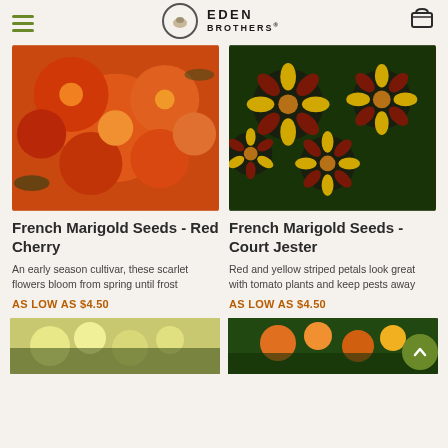Eden Brothers
[Figure (photo): Close-up photo of red-orange French Marigold flowers (Red Cherry cultivar)]
French Marigold Seeds - Red Cherry
An early season cultivar, these scarlet flowers bloom from spring until frost
AS LOW AS $4.50
[Figure (photo): Close-up photo of red and yellow striped French Marigold flowers (Court Jester cultivar)]
French Marigold Seeds - Court Jester
Red and yellow striped petals look great with tomato plants and keep pests away
AS LOW AS $4.50
[Figure (photo): Partial photo of white/yellow marigold flowers at bottom left]
[Figure (photo): Partial photo of orange/yellow marigold flowers at bottom right]